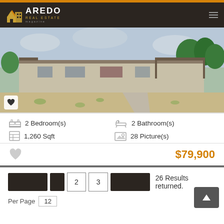[Figure (logo): Laredo Real Estate Magazine logo with house icon on dark background]
[Figure (photo): Exterior photo of a single-story house with sandy front yard, carport, and cloudy sky]
2 Bedroom(s)   2 Bathroom(s)   1,260 Sqft   28 Picture(s)
$79,900
26 Results returned.
Per Page   12